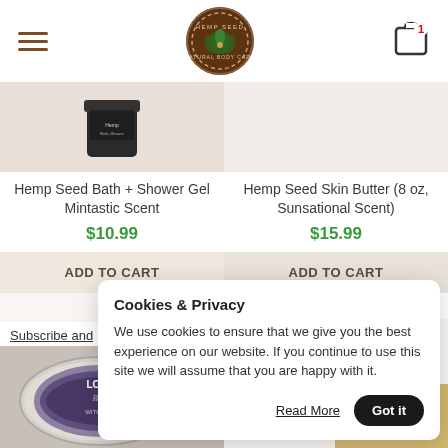Hemp Seed Natural Body Care website header with hamburger menu, logo, and cart icon (1 item)
Hemp Seed Bath + Shower Gel Mintastic Scent
$10.99
ADD TO CART
Hemp Seed Skin Butter (8 oz, Sunsational Scent)
$15.99
ADD TO CART
Subscribe and
Cookies & Privacy
We use cookies to ensure that we give you the best experience on our website. If you continue to use this site we will assume that you are happy with it.
Read More
Got it